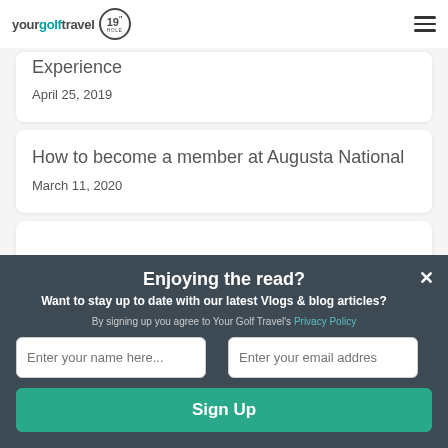yourgolftravel 19 HOLE
Experience
April 25, 2019
How to become a member at Augusta National
March 11, 2020
Enjoying the read?
Want to stay up to date with our latest Vlogs & blog articles?
By signing up you agree to Your Golf Travel's Privacy Policy
Enter your name here...
Enter your email addres
Sign Up